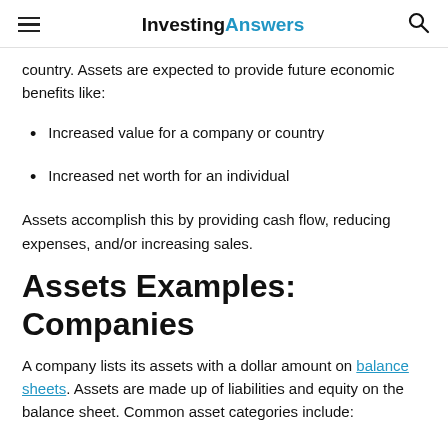InvestingAnswers
country. Assets are expected to provide future economic benefits like:
Increased value for a company or country
Increased net worth for an individual
Assets accomplish this by providing cash flow, reducing expenses, and/or increasing sales.
Assets Examples: Companies
A company lists its assets with a dollar amount on balance sheets. Assets are made up of liabilities and equity on the balance sheet. Common asset categories include: